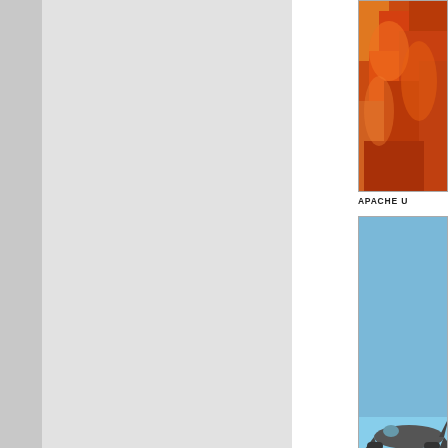[Figure (photo): Explosion or fire image - orange and red flames filling the frame]
APACHE U
[Figure (photo): Military aircraft photographed from below against a blue sky, appearing to be a large transport or gunship aircraft]
US ARMY W
[Figure (photo): Soldier in military gear/camouflage with equipment, purple smoke visible in background]